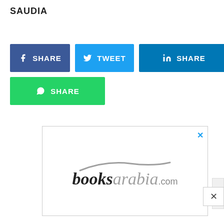SAUDIA
[Figure (screenshot): Social share buttons: Facebook SHARE (dark blue), Twitter TWEET (light blue), LinkedIn SHARE (teal), WhatsApp SHARE (green)]
[Figure (logo): booksarabia.com advertisement with logo showing a swoosh above the text 'booksarabia.com']